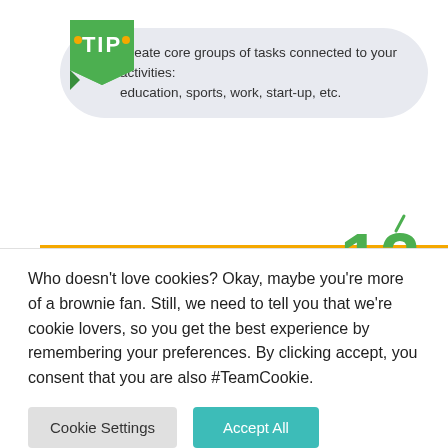[Figure (illustration): Green TIP badge with tip bubble: 'Create core groups of tasks connected to your activities: education, sports, work, start-up, etc.']
Create core groups of tasks connected to your activities: education, sports, work, start-up, etc.
[Figure (infographic): Orange banner reading 'TIME BOX YOUR TASKS' with number 12 and spark lines, and a rocket illustration with a person riding it]
Your task has a definite starting and finishing point, right? So set aside this time slot. Note for yourself how long will it take: 2, 3, or maybe even 5 hours.
Who doesn't love cookies? Okay, maybe you're more of a brownie fan. Still, we need to tell you that we're cookie lovers, so you get the best experience by remembering your preferences. By clicking accept, you consent that you are also #TeamCookie.
Cookie Settings
Accept All